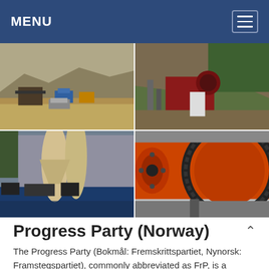MENU
[Figure (photo): Four-panel photo grid: top-left shows open-pit mining site with machinery and blue truck in arid landscape; top-right shows industrial rock crusher equipment on a hillside with green trees; bottom-left shows dust-extraction or grain industrial facility with large tubes and blue structures; bottom-right shows large orange ball mill or rotary drum industrial equipment close-up.]
Progress Party (Norway)
The Progress Party (Bokmål: Fremskrittspartiet, Nynorsk: Framstegspartiet), commonly abbreviated as FrP, is a